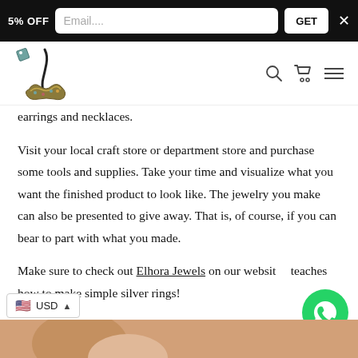5% OFF  Email....  GET  ×
[Figure (logo): Elhora Jewels logo — stylized Arabic calligraphy with decorative jewelry snake motif]
earrings and necklaces.
Visit your local craft store or department store and purchase some tools and supplies. Take your time and visualize what you want the finished product to look like. The jewelry you make can also be presented to give away. That is, of course, if you can bear to part with what you made.
Make sure to check out Elhora Jewels on our website  teaches how to make simple silver rings!
[Figure (photo): Partial photo of a person's ear/face at the bottom of the page, suggesting jewelry content]